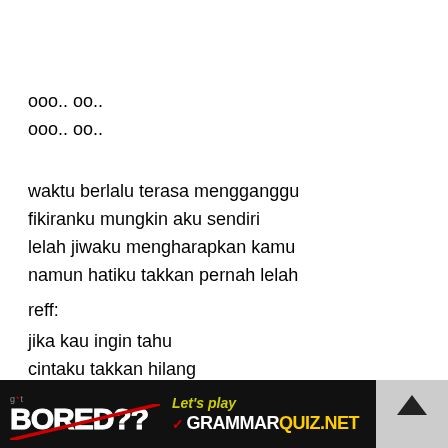ooo.. oo..
ooo.. oo..
waktu berlalu terasa mengganggu
fikiranku mungkin aku sendiri
lelah jiwaku mengharapkan kamu
namun hatiku takkan pernah lelah
reff:
jika kau ingin tahu
cintaku takkan hilang
jika kau ingin tahu
takkan pernah ku sesalkan
[Figure (infographic): Advertisement banner: black background with 'g*t BORED??' text on left, 'Let's play GRAMMARQUIZ.NET' in center with yellow and white text, and a photo of a person on the right with a scroll-up arrow icon]